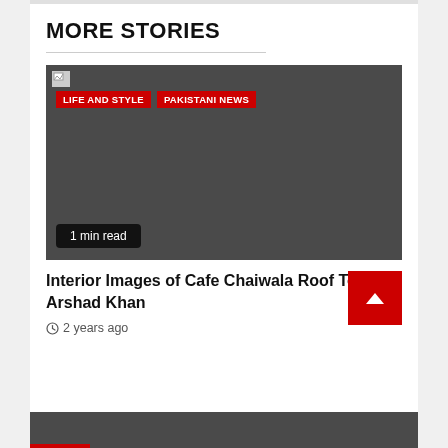MORE STORIES
[Figure (photo): Dark grey placeholder image for article about Cafe Chaiwala Roof Top, with category tags LIFE AND STYLE and PAKISTANI NEWS overlaid at top left, and a '1 min read' badge at bottom left]
Interior Images of Cafe Chaiwala Roof Top by Arshad Khan
2 years ago